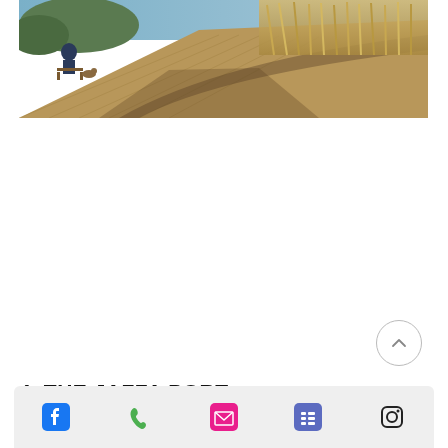[Figure (photo): Outdoor photo of a curved wooden boardwalk or promenade with ornamental grasses on the right side; a person sitting on a bench with a dog visible in the background to the left; warm afternoon light and shadows on the wooden surface.]
4. THE JAFFA PORT
[Figure (other): Bottom navigation/footer bar with five icons: Facebook (blue), Phone (green), Email/envelope (pink/red), Menu list (purple/blue), Instagram (dark outline).]